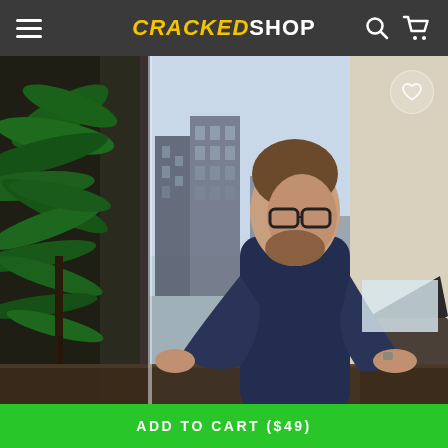CRACKEDSHOP
[Figure (photo): A man with glasses wearing a dark blue t-shirt standing at a desk, typing on a laptop, with a large window behind him showing an urban skyline. There is a green plant to the left.]
ADD TO CART ($49)